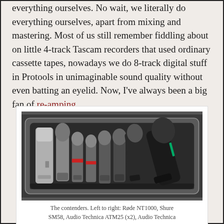everything ourselves. No wait, we literally do everything ourselves, apart from mixing and mastering. Most of us still remember fiddling about on little 4-track Tascam recorders that used ordinary cassette tapes, nowadays we do 8-track digital stuff in Protools in unimaginable sound quality without even batting an eyelid. Now, I've always been a big fan of re-amping.
[Figure (photo): A metal case/tray containing multiple microphones arranged side by side, viewed from above. The microphones include various types: condenser and dynamic mics of different sizes.]
The contenders. Left to right: Røde NT1000, Shure SM58, Audio Technica ATM25 (x2), Audio Technica